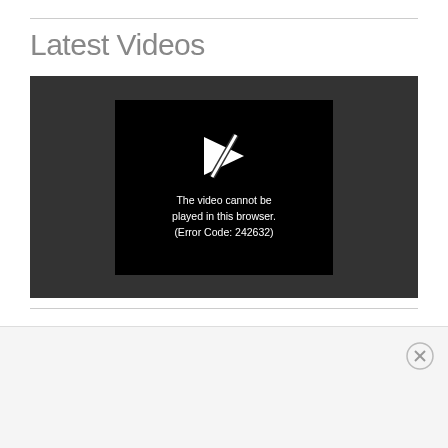Latest Videos
[Figure (screenshot): Video player showing error message: 'The video cannot be played in this browser. (Error Code: 242632)' with a broken play button icon on a black background within a dark grey player container.]